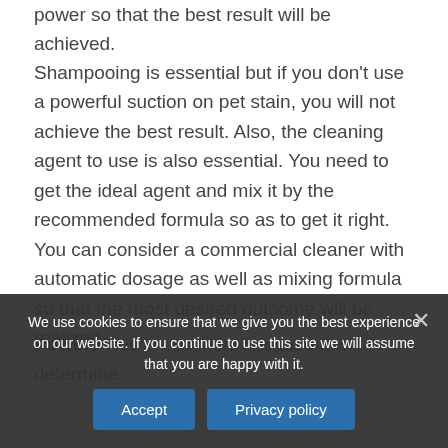power so that the best result will be achieved.
Shampooing is essential but if you don't use a powerful suction on pet stain, you will not achieve the best result. Also, the cleaning agent to use is also essential. You need to get the ideal agent and mix it by the recommended formula so as to get it right. You can consider a commercial cleaner with automatic dosage as well as mixing formula so that the most desired outcome will be realized.
Power: This is essential because it will determine
We use cookies to ensure that we give you the best experience on our website. If you continue to use this site we will assume that you are happy with it.